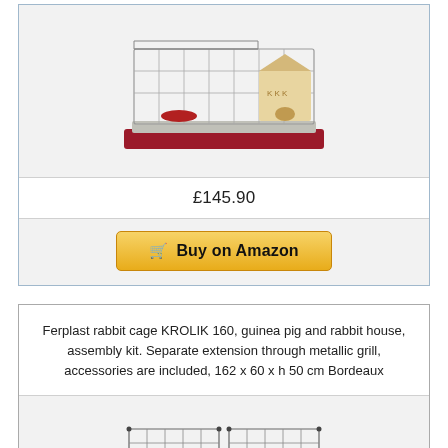[Figure (photo): Ferplast rabbit cage product image, large cage with wooden house, red bottom tray]
£145.90
Buy on Amazon
Ferplast rabbit cage KROLIK 160, guinea pig and rabbit house, assembly kit. Separate extension through metallic grill, accessories are included, 162 x 60 x h 50 cm Bordeaux
[Figure (photo): Ferplast KROLIK 160 rabbit cage product image, modular wire cage]